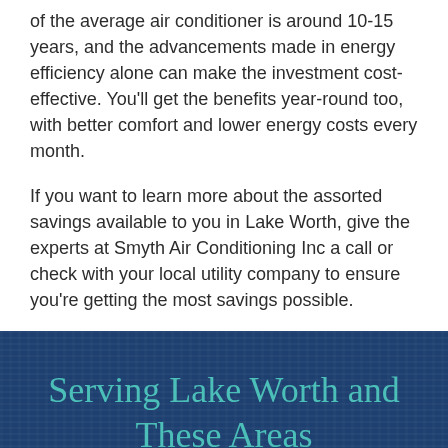of the average air conditioner is around 10-15 years, and the advancements made in energy efficiency alone can make the investment cost-effective. You'll get the benefits year-round too, with better comfort and lower energy costs every month.
If you want to learn more about the assorted savings available to you in Lake Worth, give the experts at Smyth Air Conditioning Inc a call or check with your local utility company to ensure you're getting the most savings possible.
Serving Lake Worth and These Areas